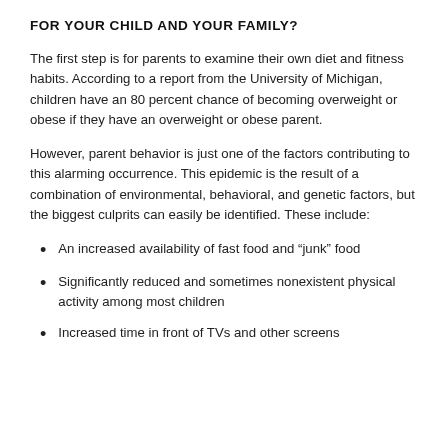FOR YOUR CHILD AND YOUR FAMILY?
The first step is for parents to examine their own diet and fitness habits. According to a report from the University of Michigan, children have an 80 percent chance of becoming overweight or obese if they have an overweight or obese parent.
However, parent behavior is just one of the factors contributing to this alarming occurrence. This epidemic is the result of a combination of environmental, behavioral, and genetic factors, but the biggest culprits can easily be identified. These include:
An increased availability of fast food and “junk” food
Significantly reduced and sometimes nonexistent physical activity among most children
Increased time in front of TVs and other screens